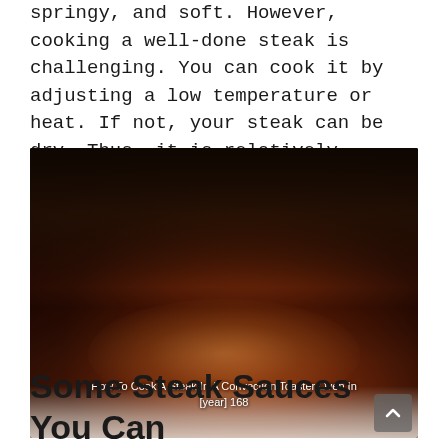springy, and soft. However, cooking a well-done steak is challenging. You can cook it by adjusting a low temperature or heat. If not, your steak can be dry. Thus, it is relatively difficult for you to chew.
[Figure (photo): A well-done steak on a white plate, with another steak visible in the background, dark seared exterior, photographed in a restaurant setting.]
How To Cook A Steak In A Convection Toaster Oven In [year] 168
Some Steak Sauces You Can